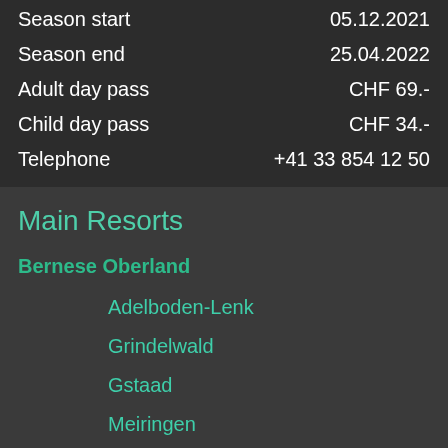Season start   05.12.2021
Season end   25.04.2022
Adult day pass   CHF 69.-
Child day pass   CHF 34.-
Telephone   +41 33 854 12 50
Main Resorts
Bernese Oberland
Adelboden-Lenk
Grindelwald
Gstaad
Meiringen
Mürren
Wengen